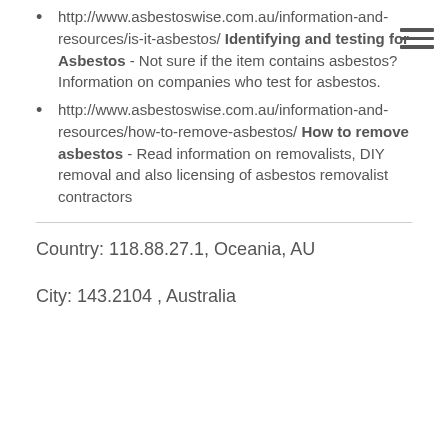http://www.asbestoswise.com.au/information-and-resources/is-it-asbestos/ Identifying and testing for Asbestos - Not sure if the item contains asbestos? Information on companies who test for asbestos.
http://www.asbestoswise.com.au/information-and-resources/how-to-remove-asbestos/ How to remove asbestos - Read information on removalists, DIY removal and also licensing of asbestos removalist contractors
Country: 118.88.27.1, Oceania, AU
City: 143.2104 , Australia